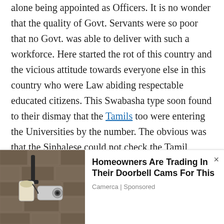alone being appointed as Officers. It is no wonder that the quality of Govt. Servants were so poor that no Govt. was able to deliver with such a workforce. Here started the rot of this country and the vicious attitude towards everyone else in this country who were Law abiding respectable educated citizens. This Swabasha type soon found to their dismay that the Tamils too were entering the Universities by the number. The obvious was that the Sinhalese could not check the Tamil answer scripts and they believed the Tamils were favouring their own as the Sinhalese Swabasha type were doing to their own kith
[Figure (photo): Advertisement banner showing a security camera mounted on a wall, with text 'Homeowners Are Trading In Their Doorbell Cams For This' and source 'Camerca | Sponsored']